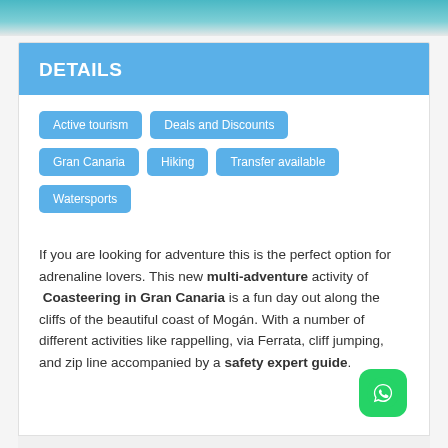[Figure (photo): Top banner image with water/ocean background in teal/blue tones]
DETAILS
Active tourism
Deals and Discounts
Gran Canaria
Hiking
Transfer available
Watersports
If you are looking for adventure this is the perfect option for adrenaline lovers. This new multi-adventure activity of Coasteering in Gran Canaria is a fun day out along the cliffs of the beautiful coast of Mogán. With a number of different activities like rappelling, via Ferrata, cliff jumping, and zip line accompanied by a safety expert guide.